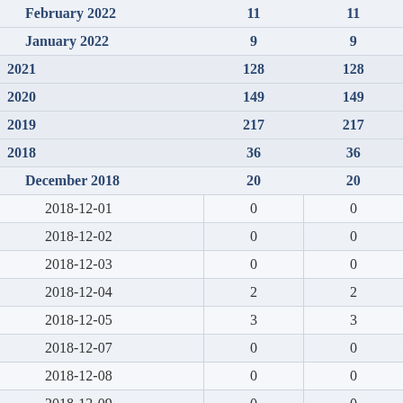| Date/Period | Count1 | Count2 |
| --- | --- | --- |
| February 2022 | 11 | 11 |
| January 2022 | 9 | 9 |
| 2021 | 128 | 128 |
| 2020 | 149 | 149 |
| 2019 | 217 | 217 |
| 2018 | 36 | 36 |
| December 2018 | 20 | 20 |
| 2018-12-01 | 0 | 0 |
| 2018-12-02 | 0 | 0 |
| 2018-12-03 | 0 | 0 |
| 2018-12-04 | 2 | 2 |
| 2018-12-05 | 3 | 3 |
| 2018-12-07 | 0 | 0 |
| 2018-12-08 | 0 | 0 |
| 2018-12-09 | 0 | 0 |
| 2018-12-10 | 1 | 1 |
| 2018-12-11 | 0 | 0 |
| 2018-12-12 | 0 | 0 |
| 2018-12-13 | 2 | 2 |